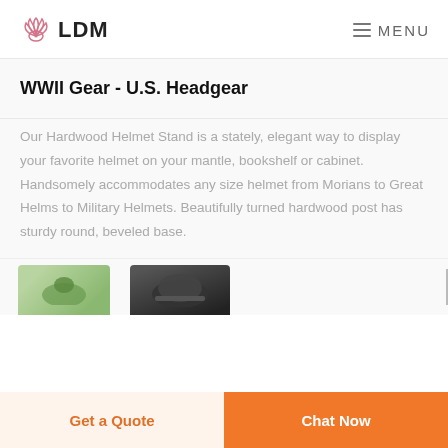LDM   MENU
WWII Gear - U.S. Headgear
Our Hardwood Helmet Stand is a stately, elegant way to display your favorite helmet on your mantle, bookshelf or cabinet. Handsomely accommodates any size helmet from Morians to Great Helms to Military Helmets. Beautifully turned hardwood post has sturdy round, beveled base.
[Figure (photo): Partially visible product images at bottom of content area]
Get a Quote
Chat Now